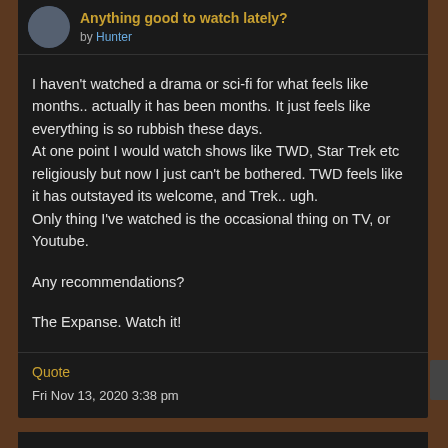Anything good to watch lately?
by Hunter
I haven't watched a drama or sci-fi for what feels like months.. actually it has been months. It just feels like everything is so rubbish these days.
At one point I would watch shows like TWD, Star Trek etc religiously but now I just can't be bothered. TWD feels like it has outstayed its welcome, and Trek.. ugh.
Only thing I've watched is the occasional thing on TV, or Youtube.
Any recommendations?
The Expanse. Watch it!
Quote
Fri Nov 13, 2020 3:38 pm